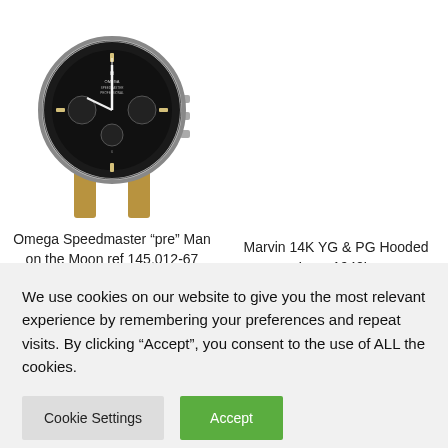[Figure (photo): Omega Speedmaster watch with black dial, chronograph subdials, steel case, and tan/brown leather strap, shown from the front]
Omega Speedmaster “pre” Man on the Moon ref 145.012-67
SOLD
Marvin 14K YG & PG Hooded Lugs 1940’s
SOLD
SKU: 37157
We use cookies on our website to give you the most relevant experience by remembering your preferences and repeat visits. By clicking “Accept”, you consent to the use of ALL the cookies.
Cookie Settings
Accept